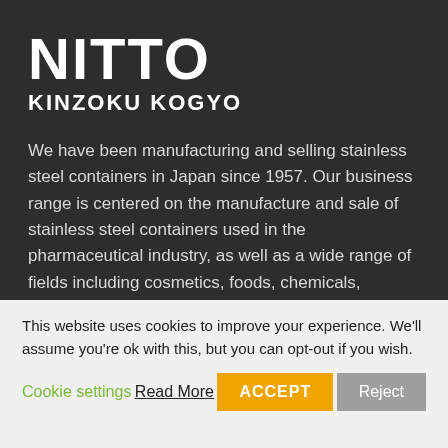NITTO KINZOKU KOGYO
We have been manufacturing and selling stainless steel containers in Japan since 1957. Our business range is centered on the manufacture and sale of stainless steel containers used in the pharmaceutical industry, as well as a wide range of fields including cosmetics, foods, chemicals, semiconductors and more.
Explore
This website uses cookies to improve your experience. We'll assume you're ok with this, but you can opt-out if you wish.
Cookie settings   Read More   ACCEPT   Reject